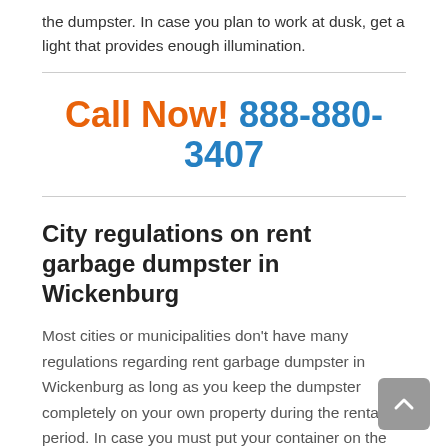the dumpster. In case you plan to work at dusk, get a light that provides enough illumination.
Call Now! 888-880-3407
City regulations on rent garbage dumpster in Wickenburg
Most cities or municipalities don't have many regulations regarding rent garbage dumpster in Wickenburg as long as you keep the dumpster completely on your own property during the rental period. In case you must put your container on the street in any way, you will probably have to get a license from the correct building permit office in your town.
Most rent garbage dumpster businesses in Wickenburg will take